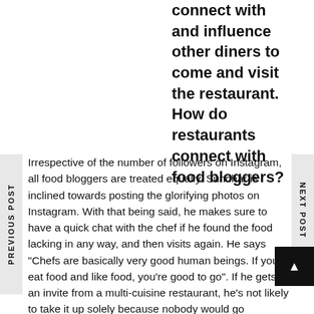connect with and influence other diners to come and visit the restaurant. How do restaurants connect with food bloggers?
Irrespective of the number of followers on Instagram, all food bloggers are treated equally. Sundhar is inclined towards posting the glorifying photos on Instagram. With that being said, he makes sure to have a quick chat with the chef if he found the food lacking in any way, and then visits again. He says “Chefs are basically very good human beings. If you eat food and like food, you’re good to go”. If he gets an invite from a multi-cuisine restaurant, he’s not likely to take it up solely because nobody would go
PREVIOUS POST
NEXT POST